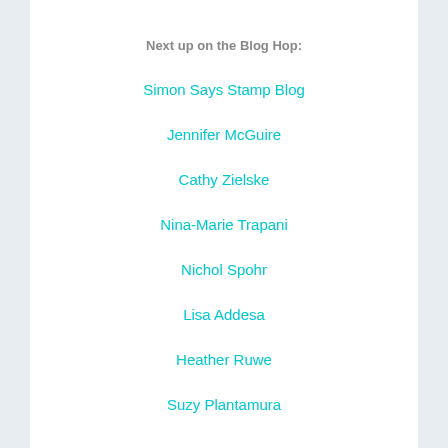Next up on the Blog Hop:
Simon Says Stamp Blog
Jennifer McGuire
Cathy Zielske
Nina-Marie Trapani
Nichol Spohr
Lisa Addesa
Heather Ruwe
Suzy Plantamura